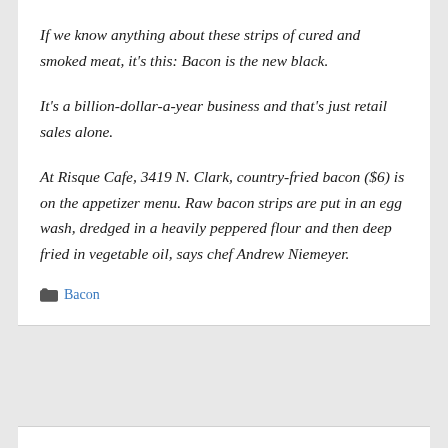If we know anything about these strips of cured and smoked meat, it's this: Bacon is the new black.
It's a billion-dollar-a-year business and that's just retail sales alone.
At Risque Cafe, 3419 N. Clark, country-fried bacon ($6) is on the appetizer menu. Raw bacon strips are put in an egg wash, dredged in a heavily peppered flour and then deep fried in vegetable oil, says chef Andrew Niemeyer.
Bacon